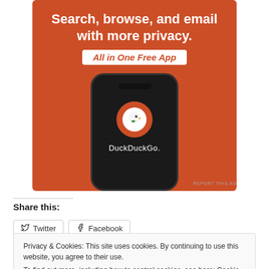[Figure (illustration): DuckDuckGo advertisement banner on orange/red background. Shows text 'Search, browse, and email with more privacy.' and 'All in One Free App' badge, with a phone showing DuckDuckGo app icon and name.]
REPORT THIS AD
Share this:
Twitter
Facebook
Privacy & Cookies: This site uses cookies. By continuing to use this website, you agree to their use.
To find out more, including how to control cookies, see here: Cookie Policy
Close and accept
Related